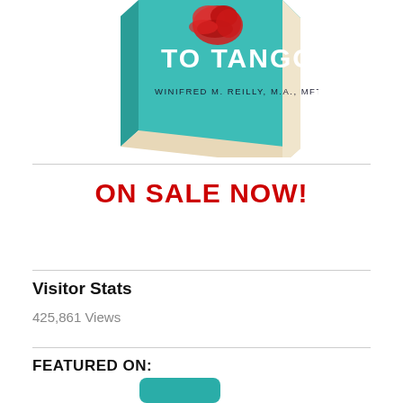[Figure (photo): Book cover of a book by Winifred M. Reilly, M.A., MFT. The cover shows text 'TO TANGO' in white large letters on a teal background, with a red rose illustration. The book is shown at an angle as a 3D book.]
ON SALE NOW!
Visitor Stats
425,861 Views
FEATURED ON: